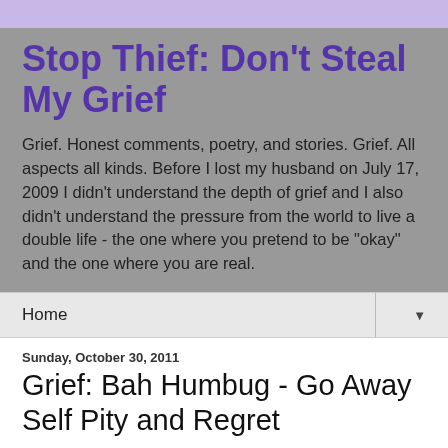Stop Thief: Don't Steal My Grief
Grief. Honest comments, poetry, and stories. Grief. All aspects all kinds. Before I lost my husband on July 17, 2009 I didn't understand the depth of grief and I also didn't understand the pressure from the world to live a double life - the one where you pretend to be "okay" and the one where you are real.
Home
Sunday, October 30, 2011
Grief: Bah Humbug - Go Away Self Pity and Regret
Today was one of those non-starter days.  The night before